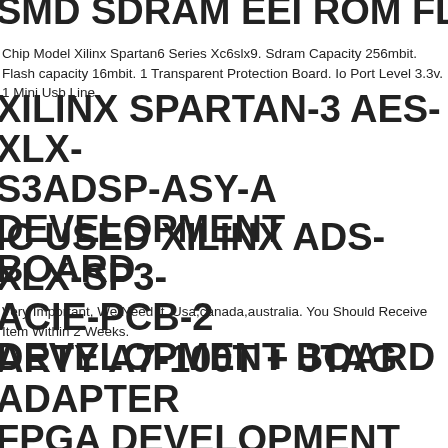SMD SDRAM EEI ROM FLASH
Chip Model Xilinx Spartan6 Series Xc6slx9. Sdram Capacity 256mbit. Flash capacity 16mbit. 1 Transparent Protection Board. Io Port Level 3.3v. 1 Mini Usb Line.
XILINX SPARTAN-3 AES-XLX-S3ADSP-ASY-A DEVELOPMENT BOARD
IC USED XILINX ADS-XLX-SP3-ACIE-PCB-2 DEVELOPMENT BOARD
Very Important, We Need It. Usa,canada,australia. You Should Receive Item Within 2 Weeks.
ARTY A7-100T + JTAG ADAPTER FPGA DEVELOPMENT BOARD AMD-XILINX XC7A100T ARTIX-7 U
SP2605 XILINX EVALUATION BOARD REV D - SPARTAN 6 - XC6SLX45T
Sp605 Eval Board Showcasing The Spartan 6 Fpga. It Is Revision D. Refer To